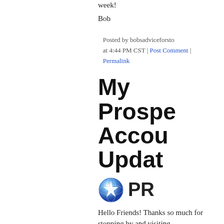week!
Bob
Posted by bobsadviceforsto at 4:44 PM CST | Post Comment | Permalink
My Prospero Account Update
[Figure (logo): Blue star/compass logo icon followed by text 'PR']
Hello Friends! Thanks so much for stopping by and visiting